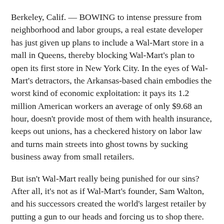Berkeley, Calif. — BOWING to intense pressure from neighborhood and labor groups, a real estate developer has just given up plans to include a Wal-Mart store in a mall in Queens, thereby blocking Wal-Mart's plan to open its first store in New York City. In the eyes of Wal-Mart's detractors, the Arkansas-based chain embodies the worst kind of economic exploitation: it pays its 1.2 million American workers an average of only $9.68 an hour, doesn't provide most of them with health insurance, keeps out unions, has a checkered history on labor law and turns main streets into ghost towns by sucking business away from small retailers.
But isn't Wal-Mart really being punished for our sins? After all, it's not as if Wal-Mart's founder, Sam Walton, and his successors created the world's largest retailer by putting a gun to our heads and forcing us to shop there.
Instead, Wal-Mart has lured customers with low prices. "We expect our suppliers to drive the costs out of the supply chain," a spokeswoman for Wal-Mart said. "It's good for us and good for them."